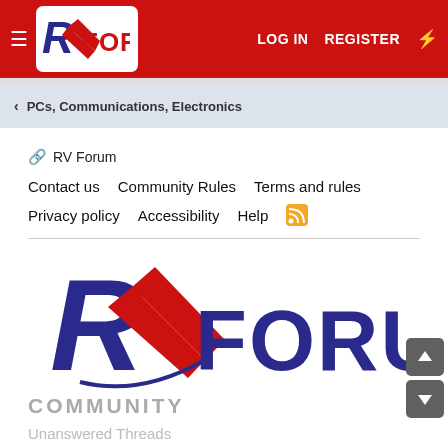RX FORUM  LOG IN  REGISTER
< PCs, Communications, Electronics
🔗 RV Forum
Contact us   Community Rules   Terms and rules
Privacy policy   Accessibility   Help  [RSS]
[Figure (logo): RX Forum logo — large version with red and blue RX symbol and FORUM text in blue]
COMMUNITY
Unanswered Threads